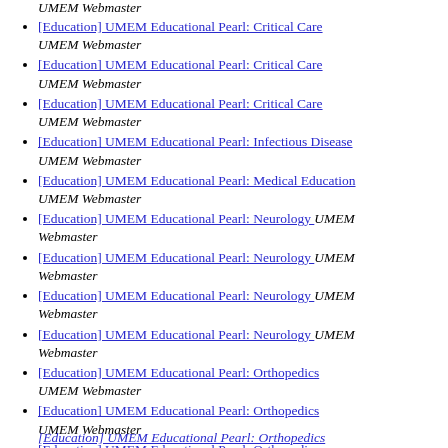UMEM Webmaster (partial, italic, top)
[Education] UMEM Educational Pearl: Critical Care  UMEM Webmaster
[Education] UMEM Educational Pearl: Critical Care  UMEM Webmaster
[Education] UMEM Educational Pearl: Critical Care  UMEM Webmaster
[Education] UMEM Educational Pearl: Infectious Disease  UMEM Webmaster
[Education] UMEM Educational Pearl: Medical Education  UMEM Webmaster
[Education] UMEM Educational Pearl: Neurology  UMEM Webmaster
[Education] UMEM Educational Pearl: Neurology  UMEM Webmaster
[Education] UMEM Educational Pearl: Neurology  UMEM Webmaster
[Education] UMEM Educational Pearl: Neurology  UMEM Webmaster
[Education] UMEM Educational Pearl: Orthopedics  UMEM Webmaster
[Education] UMEM Educational Pearl: Orthopedics  UMEM Webmaster
[Education] UMEM Educational Pearl: Orthopedics  UMEM Webmaster
[Education] UMEM Educational Pearl: Orthopedics (partial, bottom)